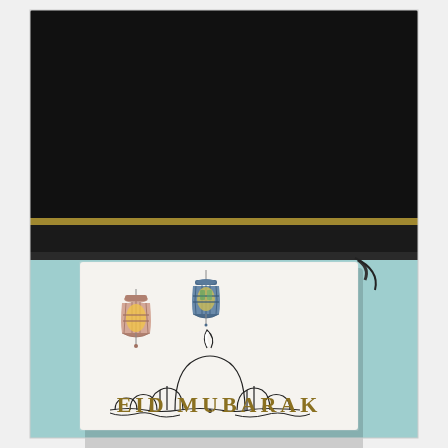[Figure (photo): A photograph showing an Eid Mubarak greeting card propped up against a black flat-screen TV on a teal/light blue surface. The card is white/cream with a textured surface and features two illustrated Ramadan lanterns (one pink/mauve, one blue/teal), a line-art illustration of mosque domes with a crescent moon, and the text 'EID MUBARAK' in gold/dark yellow capital letters at the bottom. The background shows the dark black TV screen and the teal surface beneath the card.]